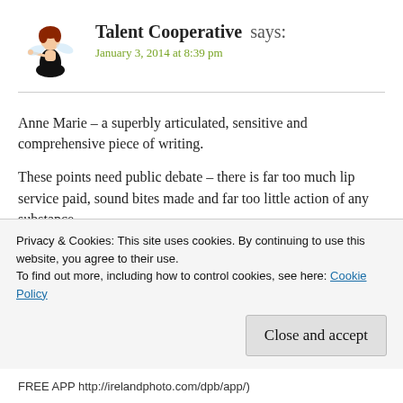Talent Cooperative says:
January 3, 2014 at 8:39 pm
Anne Marie – a superbly articulated, sensitive and comprehensive piece of writing.
These points need public debate – there is far too much lip service paid, sound bites made and far too little action of any substance.
You will know the resource bank we've created at
Privacy & Cookies: This site uses cookies. By continuing to use this website, you agree to their use. To find out more, including how to control cookies, see here: Cookie Policy
FREE APP http://irelandphoto.com/dpb/app/)